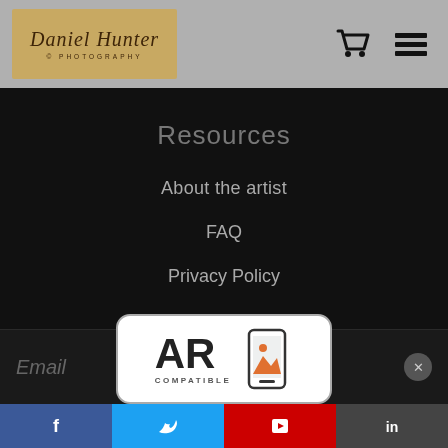DH Photography logo with cart and menu icons
Resources
About the artist
FAQ
Privacy Policy
Stay Updated
Facebook
News
Email
[Figure (logo): AR Compatible badge with phone/mountain icon]
Social media links: Facebook, Twitter, YouTube, LinkedIn